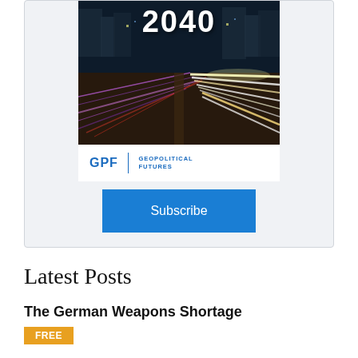[Figure (illustration): Card widget showing a book cover with '2040' title over a night city highway with light streaks, GPF Geopolitical Futures logo below, and a blue Subscribe button]
Latest Posts
The German Weapons Shortage
FREE